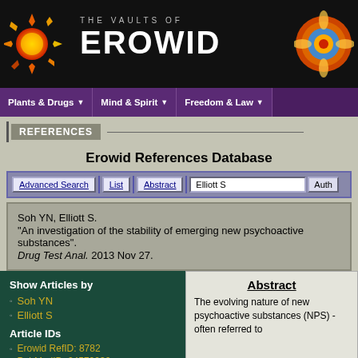THE VAULTS OF EROWID
[Figure (logo): Erowid sun logo on dark background with navigation bar showing Plants & Drugs, Mind & Spirit, Freedom & Law]
REFERENCES
Erowid References Database
Advanced Search | List | Abstract | Elliott S | Auth
Soh YN, Elliott S.
"An investigation of the stability of emerging new psychoactive substances".
Drug Test Anal. 2013 Nov 27.
Show Articles by
Soh YN
Elliott S
Article IDs
Erowid RefID: 8782
PubMedID: 24572030
Abstract
The evolving nature of new psychoactive substances (NPS) - often referred to